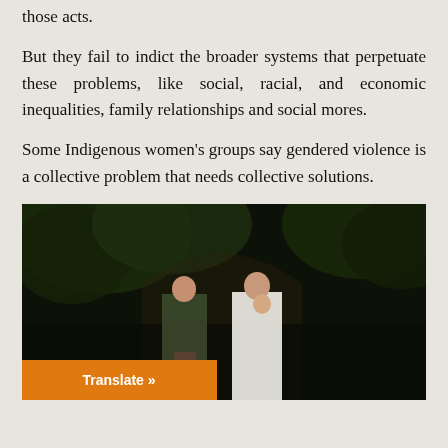those acts.
But they fail to indict the broader systems that perpetuate these problems, like social, racial, and economic inequalities, family relationships and social mores.
Some Indigenous women’s groups say gendered violence is a collective problem that needs collective solutions.
[Figure (photo): Two Indigenous women in traditional patterned clothing and a woman holding a baby standing in front of trees/archway in a dark outdoor setting. An orange 'Translate »' button overlay appears in the bottom left.]